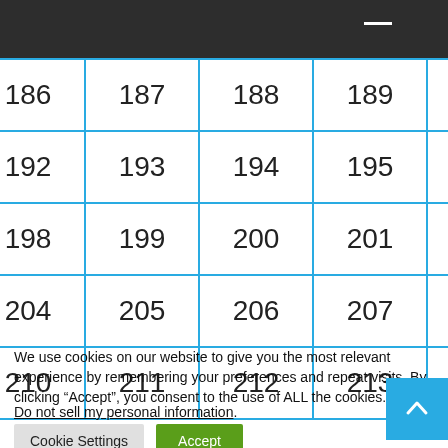| 186 | 187 | 188 | 189 | 190 | 191 |
| 192 | 193 | 194 | 195 | 196 | 197 |
| 198 | 199 | 200 | 201 | 202 | 203 |
| 204 | 205 | 206 | 207 | 208 | 209 |
| 210 | 211 | 212 | 213 | 214 | 215 |
We use cookies on our website to give you the most relevant experience by remembering your preferences and repeat visits. By clicking “Accept”, you consent to the use of ALL the cookies.
Do not sell my personal information.
Cookie Settings   Accept